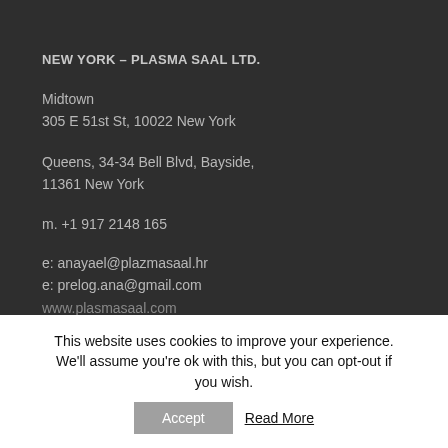NEW YORK – PLASMA SAAL LTD.
Midtown
305 E 51st St, 10022 New York
Queens, 34-34 Bell Blvd, Bayside, 11361 New York
m. +1 917 2148 165
e: anayael@plazmasaal.hr
e: prelog.ana@gmail.com
www.plasmasaal.com
This website uses cookies to improve your experience. We'll assume you're ok with this, but you can opt-out if you wish.
Accept
Read More